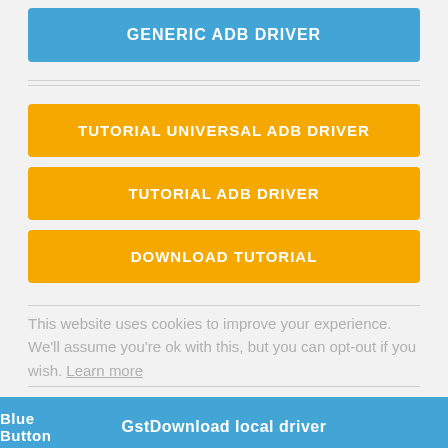GENERIC ADB DRIVER
TUTORIAL UNIVERSAL ADB DRIVER
TUTORIAL ADB DRIVER
DOWNLOAD TUTORIAL
This website uses cookies to improve your experience. We'll assume you're ok with this, but you can opt-out if you wish. Learn more
Blue Button | GstDownload local driver
Automatic downloads from our server. If you click over them, automatically will be downloaded a driver installer